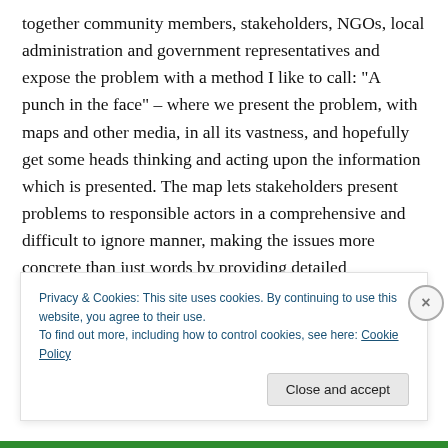together community members, stakeholders, NGOs, local administration and government representatives and expose the problem with a method I like to call: "A punch in the face" – where we present the problem, with maps and other media, in all its vastness, and hopefully get some heads thinking and acting upon the information which is presented. The map lets stakeholders present problems to responsible actors in a comprehensive and difficult to ignore manner, making the issues more concrete than just words by providing detailed
Privacy & Cookies: This site uses cookies. By continuing to use this website, you agree to their use.
To find out more, including how to control cookies, see here: Cookie Policy
Close and accept